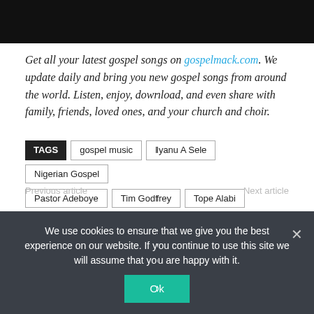[Figure (photo): Black bar at top of page, likely a video player or header image]
Get all your latest gospel songs on gospelmack.com. We update daily and bring you new gospel songs from around the world. Listen, enjoy, download, and even share with family, friends, loved ones, and your church and choir.
TAGS  gospel music  Iyanu A Sele  Nigerian Gospel  Pastor Adeboye  Tim Godfrey  Tope Alabi
Previous article   Next article
We use cookies to ensure that we give you the best experience on our website. If you continue to use this site we will assume that you are happy with it.